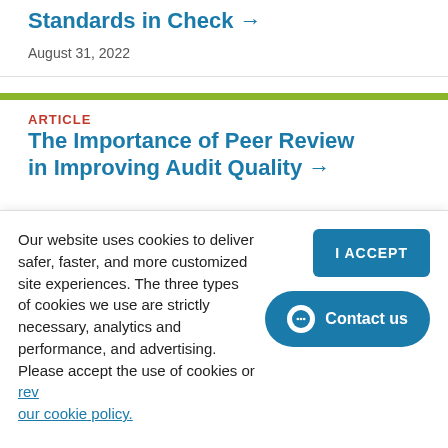Standards in Check →
August 31, 2022
ARTICLE
The Importance of Peer Review in Improving Audit Quality →
Our website uses cookies to deliver safer, faster, and more customized site experiences. The three types of cookies we use are strictly necessary, analytics and performance, and advertising. Please accept the use of cookies or review our cookie policy.
I ACCEPT
Contact us